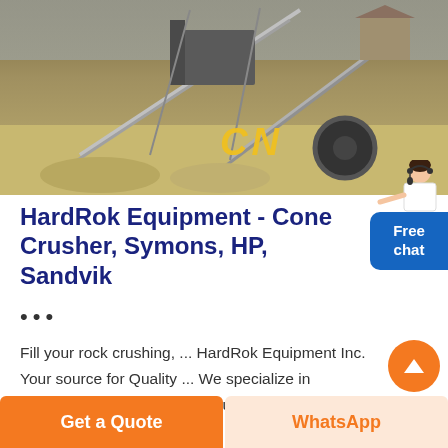[Figure (photo): Aerial or ground-level photo of rock crushing / mining equipment including conveyor belts, cone crusher machinery, and a shed structure on sandy ground. Yellow 'CN' logo watermark visible at center-bottom of image.]
HardRok Equipment - Cone Crusher, Symons, HP, Sandvik
...
Fill your rock crushing, ... HardRok Equipment Inc. Your source for Quality ... We specialize in providing quality parts and equipment to meet all your crushing
[Figure (other): Free chat button with person avatar — blue rounded rectangle with text 'Free chat' and a person figure above it]
Get a Quote
WhatsApp